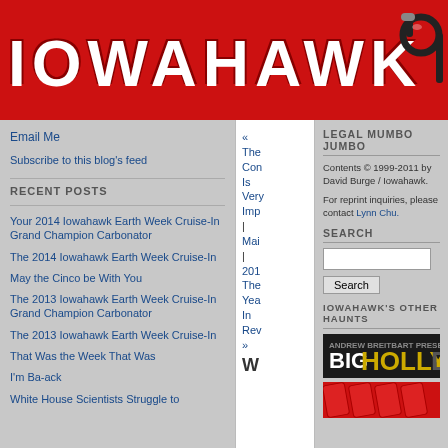IOWAHAWK
Email Me
Subscribe to this blog's feed
RECENT POSTS
Your 2014 Iowahawk Earth Week Cruise-In Grand Champion Carbonator
The 2014 Iowahawk Earth Week Cruise-In
May the Cinco be With You
The 2013 Iowahawk Earth Week Cruise-In Grand Champion Carbonator
The 2013 Iowahawk Earth Week Cruise-In
That Was the Week That Was
I'm Ba-ack
White House Scientists Struggle to
« The Con Is Very Imp | Main | 2010 The Year In Rev »
W
LEGAL MUMBO JUMBO
Contents © 1999-2011 by David Burge / Iowahawk.
For reprint inquiries, please contact Lynn Chu.
SEARCH
IOWAHAWK'S OTHER HAUNTS
[Figure (screenshot): BIG HOLLYWOOD banner]
[Figure (screenshot): Red graphic with diagonal stripes]